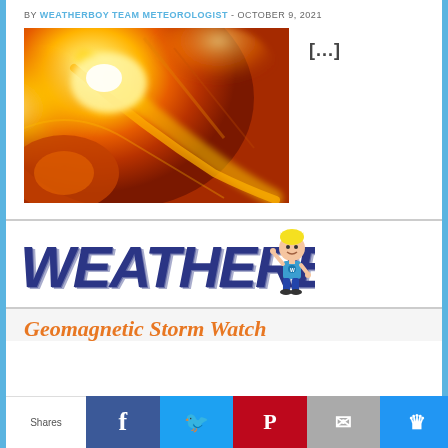BY WEATHERBOY TEAM METEOROLOGIST - OCTOBER 9, 2021
[Figure (photo): Close-up NASA photo of a solar flare on the sun's surface, showing bright orange and yellow plasma eruption against deep orange background]
[...]
[Figure (logo): Weatherboy logo — large bold dark blue italic text 'WEATHERBOY' with a cartoon boy mascot waving to the right]
Geomagnetic Storm Watch
Shares | Facebook | Twitter | Pinterest | Email | Crown